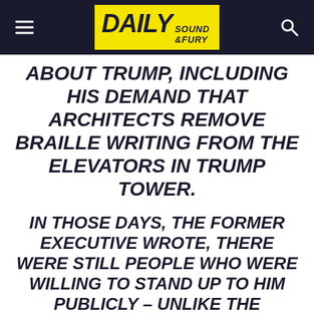Daily Sound & Fury
ABOUT TRUMP, INCLUDING HIS DEMAND THAT ARCHITECTS REMOVE BRAILLE WRITING FROM THE ELEVATORS IN TRUMP TOWER.
IN THOSE DAYS, THE FORMER EXECUTIVE WROTE, THERE WERE STILL PEOPLE WHO WERE WILLING TO STAND UP TO HIM PUBLICLY – UNLIKE THE ANONYMOUS STAFFERS WHO SPOKE TO VETERAN JOURNALIST BOB WOODWARD FOR HIS NEW BOOK OR THE SENIOR OFFICIAL WHO PENNED AN OP-ED FOR THE NEW YORK TIMES